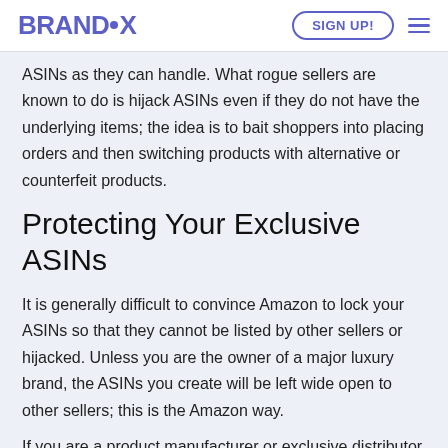BRANDLOX | SIGN UP!
ASINs as they can handle. What rogue sellers are known to do is hijack ASINs even if they do not have the underlying items; the idea is to bait shoppers into placing orders and then switching products with alternative or counterfeit products.
Protecting Your Exclusive ASINs
It is generally difficult to convince Amazon to lock your ASINs so that they cannot be listed by other sellers or hijacked. Unless you are the owner of a major luxury brand, the ASINs you create will be left wide open to other sellers; this is the Amazon way.
If you are a product manufacturer or exclusive distributor, you will not want others to mess with your ASINs, and that means keeping unauthorized sellers away. Amazon can help you deal with unauthorized sellers who list your products without actually having them in their inventory, but...